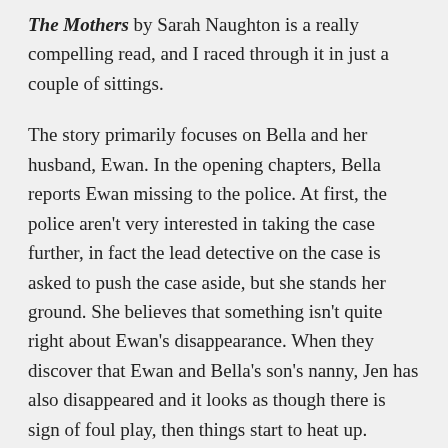The Mothers by Sarah Naughton is a really compelling read, and I raced through it in just a couple of sittings.
The story primarily focuses on Bella and her husband, Ewan. In the opening chapters, Bella reports Ewan missing to the police. At first, the police aren't very interested in taking the case further, in fact the lead detective on the case is asked to push the case aside, but she stands her ground. She believes that something isn't quite right about Ewan's disappearance. When they discover that Ewan and Bella's son's nanny, Jen has also disappeared and it looks as though there is sign of foul play, then things start to heat up.
I don't think I found any of the women the story focuses on particularly likeable, although there were times when I did feel sorry for Bella. The way some people treated